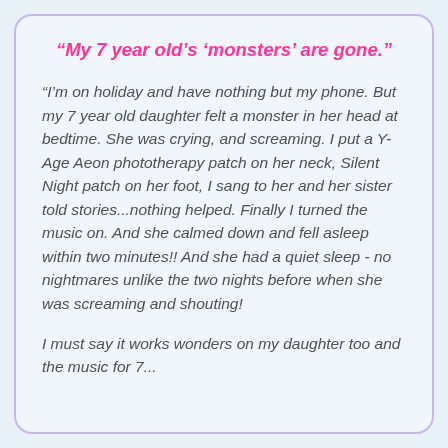“My 7 year old’s ‘monsters’ are gone.”
“I’m on holiday and have nothing but my phone. But my 7 year old daughter felt a monster in her head at bedtime. She was crying, and screaming. I put a Y-Age Aeon phototherapy patch on her neck, Silent Night patch on her foot, I sang to her and her sister told stories...nothing helped. Finally I turned the music on. And she calmed down and fell asleep within two minutes!! And she had a quiet sleep - no nightmares unlike the two nights before when she was screaming and shouting!
I must say it works wonders on my daughter too and the music for 7...